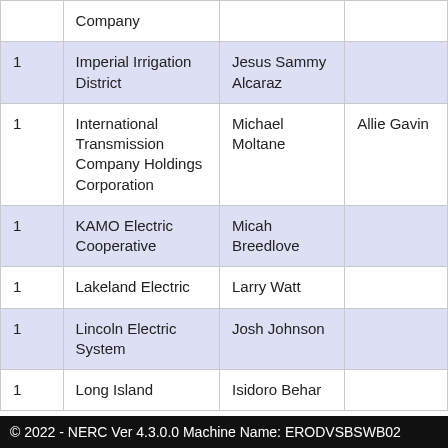|  | Company | Name |  |
| --- | --- | --- | --- |
|  | Company |  |  |
| 1 | Imperial Irrigation District | Jesus Sammy Alcaraz |  |
| 1 | International Transmission Company Holdings Corporation | Michael Moltane | Allie Gavin |
| 1 | KAMO Electric Cooperative | Micah Breedlove |  |
| 1 | Lakeland Electric | Larry Watt |  |
| 1 | Lincoln Electric System | Josh Johnson |  |
| 1 | Long Island | Isidoro Behar |  |
© 2022 - NERC Ver 4.3.0.0 Machine Name: ERODVSBSWB02